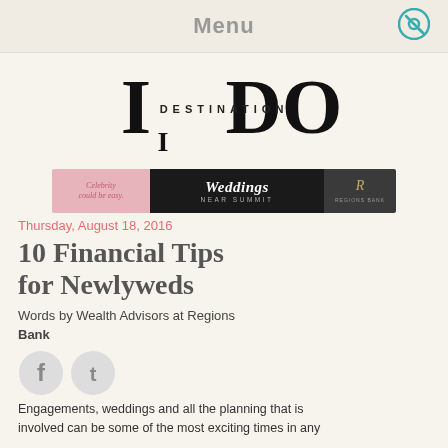Menu
[Figure (logo): Destination I Do magazine logo with large stylized 'I DO' letters and 'DESTINATION' text between them]
[Figure (photo): Wedding banner advertisement with text 'Celebrity could be easy' on pink left, 'Weddings NEAR SUMMIT' in center on dark background, and hotel logo on right]
Thursday, August 18, 2016
10 Financial Tips for Newlyweds
Words by Wealth Advisors at Regions Bank
[Figure (illustration): Facebook and Twitter social media icon buttons]
Engagements, weddings and all the planning that is involved can be some of the most exciting times in any